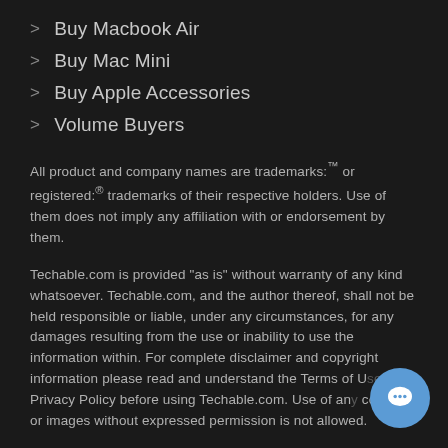> Buy Macbook Air
> Buy Mac Mini
> Buy Apple Accessories
> Volume Buyers
All product and company names are trademarks:™ or registered:® trademarks of their respective holders. Use of them does not imply any affiliation with or endorsement by them.
Techable.com is provided "as is" without warranty of any kind whatsoever. Techable.com, and the author thereof, shall not be held responsible or liable, under any circumstances, for any damages resulting from the use or inability to use the information within. For complete disclaimer and copyright information please read and understand the Terms of Use the Privacy Policy before using Techable.com. Use of any content or images without expressed permission is not allowed.